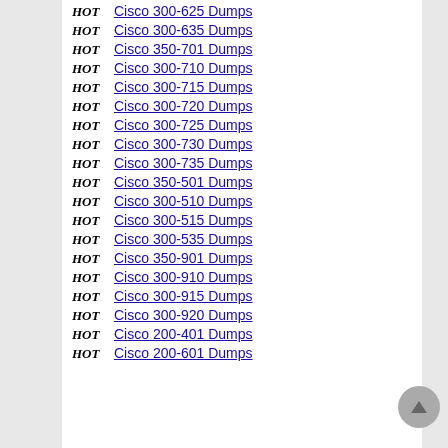HOT Cisco 300-625 Dumps
HOT Cisco 300-635 Dumps
HOT Cisco 350-701 Dumps
HOT Cisco 300-710 Dumps
HOT Cisco 300-715 Dumps
HOT Cisco 300-720 Dumps
HOT Cisco 300-725 Dumps
HOT Cisco 300-730 Dumps
HOT Cisco 300-735 Dumps
HOT Cisco 350-501 Dumps
HOT Cisco 300-510 Dumps
HOT Cisco 300-515 Dumps
HOT Cisco 300-535 Dumps
HOT Cisco 350-901 Dumps
HOT Cisco 300-910 Dumps
HOT Cisco 300-915 Dumps
HOT Cisco 300-920 Dumps
HOT Cisco 200-401 Dumps
HOT Cisco 200-601 Dumps